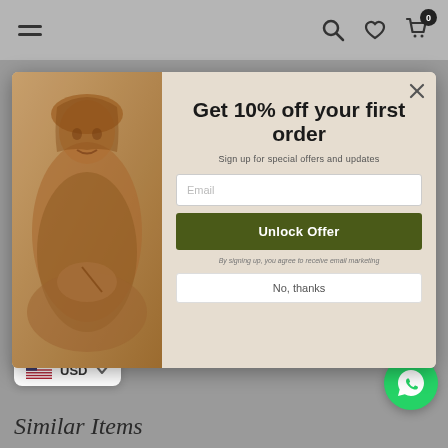Navigation bar with hamburger menu, search, wishlist, and cart (0)
[Figure (screenshot): Modal popup with sepia photo of Indian woman weaving on left, and sign-up form on right with title 'Get 10% off your first order', email input, Unlock Offer button, and No thanks button]
Get 10% off your first order
Sign up for special offers and updates
Email
Unlock Offer
By signing up, you agree to receive email marketing
No, thanks
USD
Similar Items